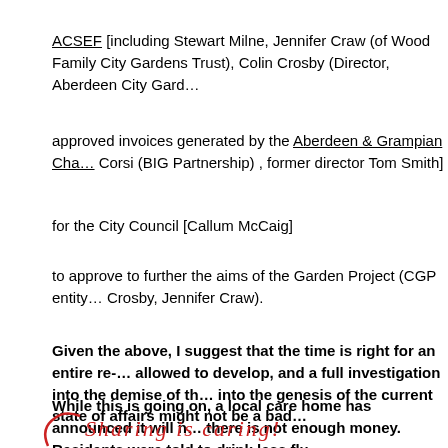ACSEF [including Stewart Milne, Jennifer Craw (of Wood Family City Gardens Trust), Colin Crosby (Director, Aberdeen City Gard…
approved invoices generated by the Aberdeen & Grampian Cha… Corsi (BIG Partnership) , former director Tom Smith]
for the City Council [Callum McCaig]
to approve to further the aims of the Garden Project (CGP entity… Crosby, Jennifer Craw).
Given the above, I suggest that the time is right for an entire re-… allowed to develop, and a full investigation into the demise of th… into the genesis of the current state of affairs might not be a bad…
While this is going on, a local care home has announced it will n… there is not enough money. Residents were told to drink less flu…
Sharing is caring!